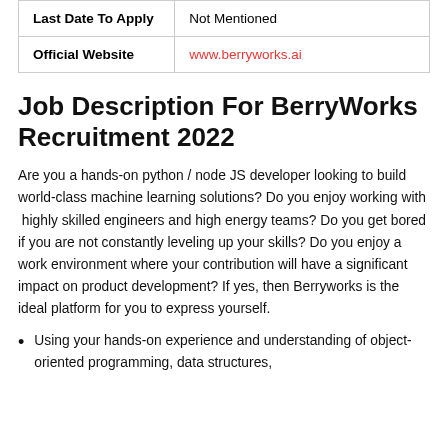| Last Date To Apply | Not Mentioned |
| Official Website | www.berryworks.ai |
Job Description For BerryWorks Recruitment 2022
Are you a hands-on python / node JS developer looking to build world-class machine learning solutions? Do you enjoy working with  highly skilled engineers and high energy teams? Do you get bored if you are not constantly leveling up your skills? Do you enjoy a work environment where your contribution will have a significant impact on product development? If yes, then Berryworks is the ideal platform for you to express yourself.
Using your hands-on experience and understanding of object-oriented programming, data structures,